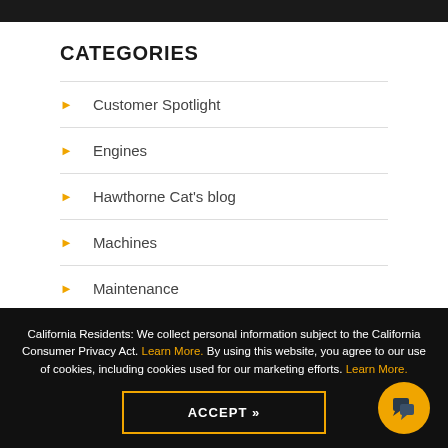CATEGORIES
Customer Spotlight
Engines
Hawthorne Cat's blog
Machines
Maintenance
News
California Residents: We collect personal information subject to the California Consumer Privacy Act. Learn More. By using this website, you agree to our use of cookies, including cookies used for our marketing efforts. Learn More.
ACCEPT »